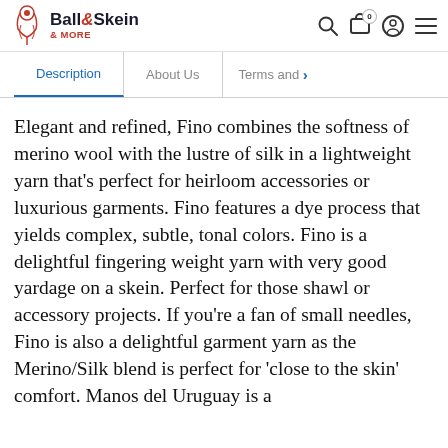Ball & Skein & More
Description | About Us | Terms and >
Elegant and refined, Fino combines the softness of merino wool with the lustre of silk in a lightweight yarn that’s perfect for heirloom accessories or luxurious garments. Fino features a dye process that yields complex, subtle, tonal colors. Fino is a delightful fingering weight yarn with very good yardage on a skein. Perfect for those shawl or accessory projects. If you're a fan of small needles, Fino is also a delightful garment yarn as the Merino/Silk blend is perfect for 'close to the skin' comfort. Manos del Uruguay is a